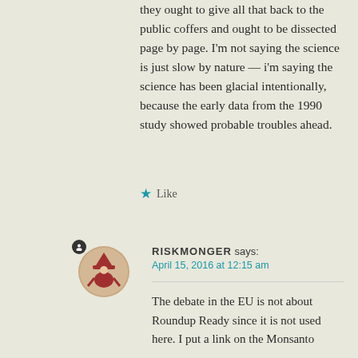they ought to give all that back to the public coffers and ought to be dissected page by page. I'm not saying the science is just slow by nature — i'm saying the science has been glacial intentionally, because the early data from the 1990 study showed probable troubles ahead.
Like
[Figure (illustration): Avatar image of commenter RISKMONGER showing a red illustrated figure with a witch hat]
RISKMONGER says: April 15, 2016 at 12:15 am
The debate in the EU is not about Roundup Ready since it is not used here. I put a link on the Monsanto